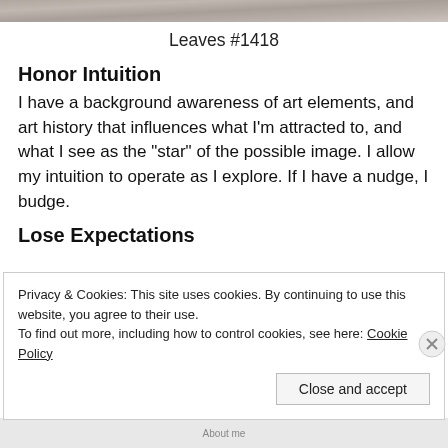[Figure (photo): Partial image of leaves, cropped at top of page]
Leaves #1418
Honor Intuition
I have a background awareness of art elements, and art history that influences what I'm attracted to, and what I see as the "star" of the possible image. I allow my intuition to operate as I explore. If I have a nudge, I budge.
Lose Expectations
Privacy & Cookies: This site uses cookies. By continuing to use this website, you agree to their use.
To find out more, including how to control cookies, see here: Cookie Policy